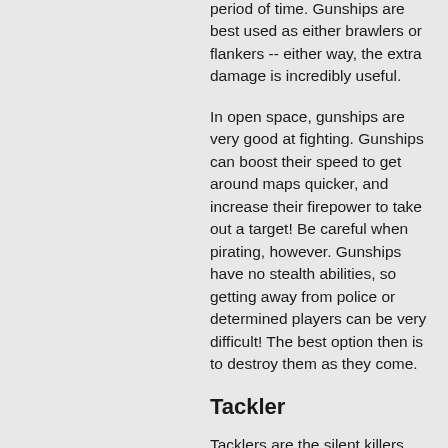period of time. Gunships are best used as either brawlers or flankers -- either way, the extra damage is incredibly useful.
In open space, gunships are very good at fighting. Gunships can boost their speed to get around maps quicker, and increase their firepower to take out a target! Be careful when pirating, however. Gunships have no stealth abilities, so getting away from police or determined players can be very difficult! The best option then is to destroy them as they come.
Tackler
Tacklers are the silent killers. With the ability to cloak for